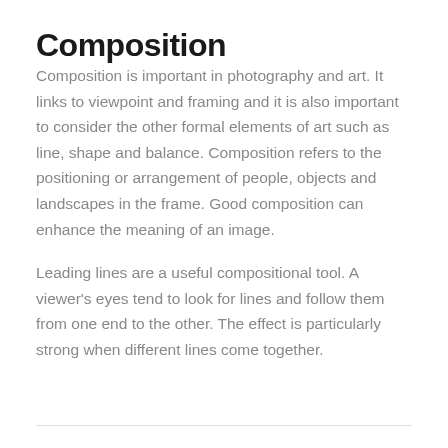Composition
Composition is important in photography and art. It links to viewpoint and framing and it is also important to consider the other formal elements of art such as line, shape and balance. Composition refers to the positioning or arrangement of people, objects and landscapes in the frame. Good composition can enhance the meaning of an image.
Leading lines are a useful compositional tool. A viewer’s eyes tend to look for lines and follow them from one end to the other. The effect is particularly strong when different lines come together.